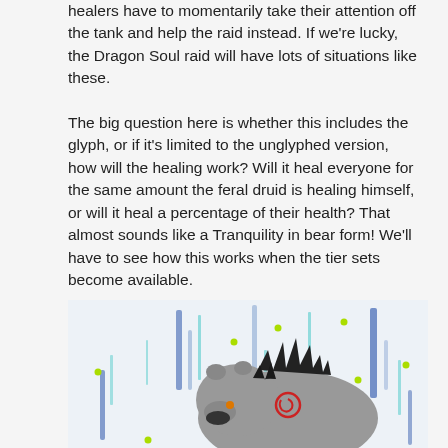healers have to momentarily take their attention off the tank and help the raid instead. If we're lucky, the Dragon Soul raid will have lots of situations like these.
The big question here is whether this includes the glyph, or if it's limited to the unglyphed version, how will the healing work? Will it heal everyone for the same amount the feral druid is healing himself, or will it heal a percentage of their health? That almost sounds like a Tranquility in bear form! We'll have to see how this works when the tier sets become available.
[Figure (illustration): A cartoon illustration of a grey bear (feral druid in bear form) with dark spiky fur on its back, an orange dot on its face, and a red spiral symbol on its side. The background has vertical blue and cyan streaks of varying heights and yellow-green dots scattered around, suggesting a rain or magic particle effect.]